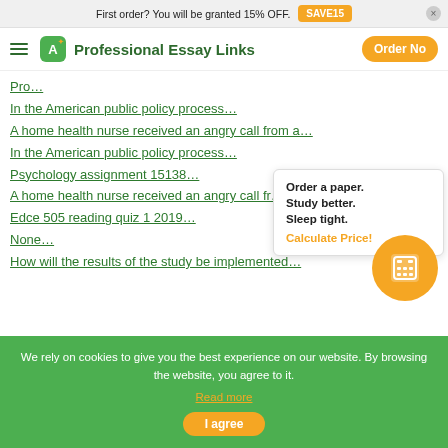First order? You will be granted 15% OFF. SAVE15
Professional Essay Links | Order Now
Pro...
In the American public policy process...
A home health nurse received an angry call from a...
In the American public policy process...
Psychology assignment 15138...
A home health nurse received an angry call fr... a...
Edce 505 reading quiz 1 2019...
None...
How will the results of the study be implemented...
[Figure (other): Popup with text: Order a paper. Study better. Sleep tight. Calculate Price! and calculator icon circle in orange]
We rely on cookies to give you the best experience on our website. By browsing the website, you agree to it. Read more
I agree